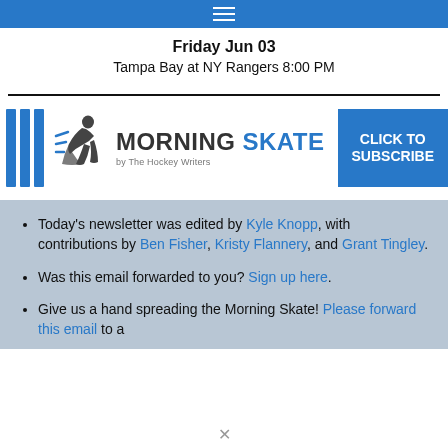≡
Friday Jun 03
Tampa Bay at NY Rangers 8:00 PM
[Figure (logo): Morning Skate by The Hockey Writers logo with hockey player silhouette and CLICK TO SUBSCRIBE button]
Today's newsletter was edited by Kyle Knopp, with contributions by Ben Fisher, Kristy Flannery, and Grant Tingley.
Was this email forwarded to you? Sign up here.
Give us a hand spreading the Morning Skate! Please forward this email to a